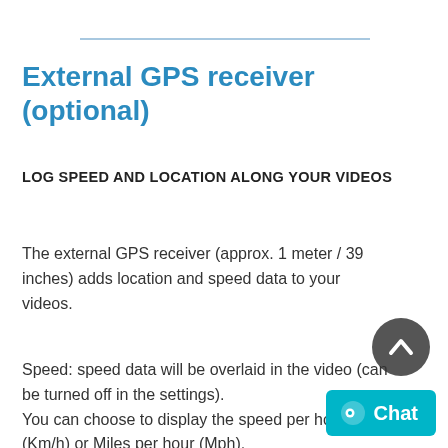External GPS receiver (optional)
LOG SPEED AND LOCATION ALONG YOUR VIDEOS
The external GPS receiver (approx. 1 meter / 39 inches) adds location and speed data to your videos.
Speed: speed data will be overlaid in the video (can be turned off in the settings).
You can choose to display the speed per hour (Km/h) or Miles per hour (Mph).